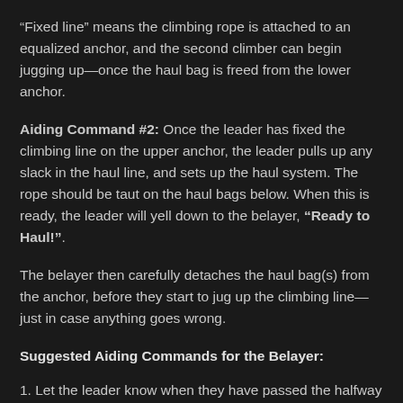“Fixed line” means the climbing rope is attached to an equalized anchor, and the second climber can begin jugging up—once the haul bag is freed from the lower anchor.
Aiding Command #2: Once the leader has fixed the climbing line on the upper anchor, the leader pulls up any slack in the haul line, and sets up the haul system. The rope should be taut on the haul bags below. When this is ready, the leader will yell down to the belayer, “Ready to Haul!”.
The belayer then carefully detaches the haul bag(s) from the anchor, before they start to jug up the climbing line—just in case anything goes wrong.
Suggested Aiding Commands for the Belayer:
1. Let the leader know when they have passed the halfway